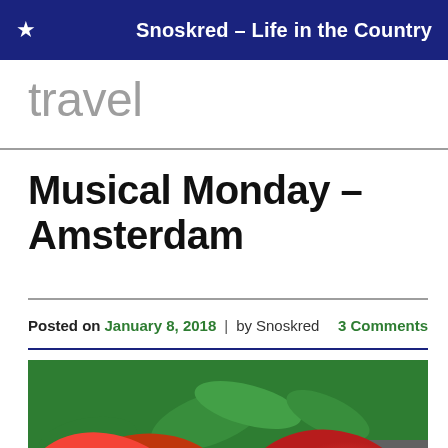Snoskred – Life in the Country
travel
Musical Monday – Amsterdam
Posted on January 8, 2018 | by Snoskred   3 Comments
[Figure (photo): Close-up photograph of red/orange hibiscus flowers with green leaves in the background]